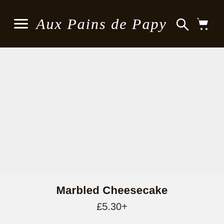Aux Pains de Papy
[Figure (photo): Product image placeholder area for Marbled Cheesecake — light grey background, no visible image loaded]
Marbled Cheesecake
£5.30+